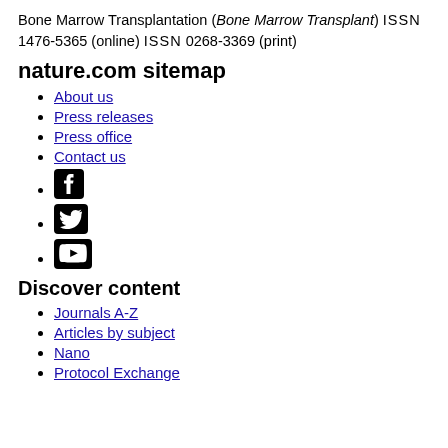Bone Marrow Transplantation (Bone Marrow Transplant) ISSN 1476-5365 (online) ISSN 0268-3369 (print)
nature.com sitemap
About us
Press releases
Press office
Contact us
[Facebook icon]
[Twitter icon]
[YouTube icon]
Discover content
Journals A-Z
Articles by subject
Nano
Protocol Exchange